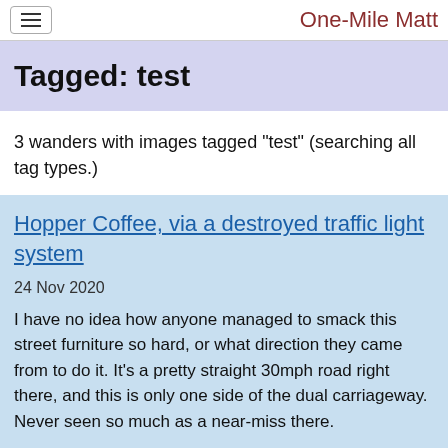One-Mile Matt
Tagged: test
3 wanders with images tagged "test" (searching all tag types.)
Hopper Coffee, via a destroyed traffic light system
24 Nov 2020
I have no idea how anyone managed to smack this street furniture so hard, or what direction they came from to do it. It's a pretty straight 30mph road right there, and this is only one side of the dual carriageway. Never seen so much as a near-miss there.
Matching Images
[Figure (photo): Partial thumbnail image placeholder at bottom of card]